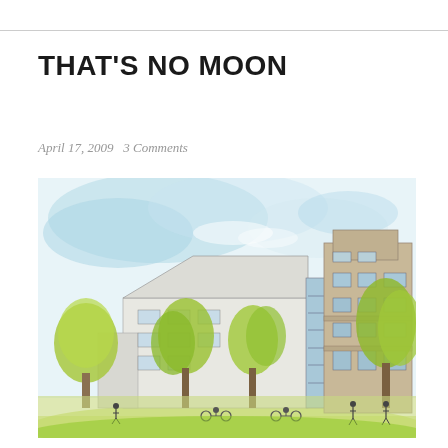THAT'S NO MOON
April 17, 2009   3 Comments
[Figure (illustration): Watercolor architectural rendering of a modern campus building complex with trees and pedestrians in the foreground, blue sky background. Shows multiple-story buildings with large windows, surrounded by green trees and small figures of people and cyclists.]